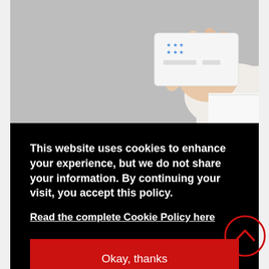[Figure (photo): A hand holding a hotel loyalty card or credit card against a grey wall background]
SPOTLIGHT ON CORPORATE HOTEL RATES: WHY CHEAPER MAY COST YOU
This website uses cookies to enhance your experience, but we do not share your information. By continuing your visit, you accept this policy.
Read the complete Cookie Policy here
Okay, thanks